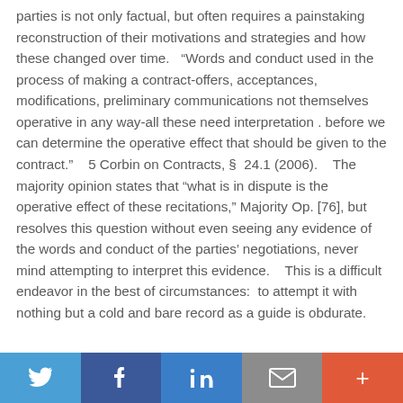parties is not only factual, but often requires a painstaking reconstruction of their motivations and strategies and how these changed over time.   “Words and conduct used in the process of making a contract-offers, acceptances, modifications, preliminary communications not themselves operative in any way-all these need interpretation . before we can determine the operative effect that should be given to the contract.”    5 Corbin on Contracts, §  24.1 (2006).    The majority opinion states that “what is in dispute is the operative effect of these recitations,” Majority Op. [76], but resolves this question without even seeing any evidence of the words and conduct of the parties’ negotiations, never mind attempting to interpret this evidence.    This is a difficult endeavor in the best of circumstances:  to attempt it with nothing but a cold and bare record as a guide is obdurate.
[Figure (other): Social media sharing bar with Twitter, Facebook, LinkedIn, Email, and More buttons]